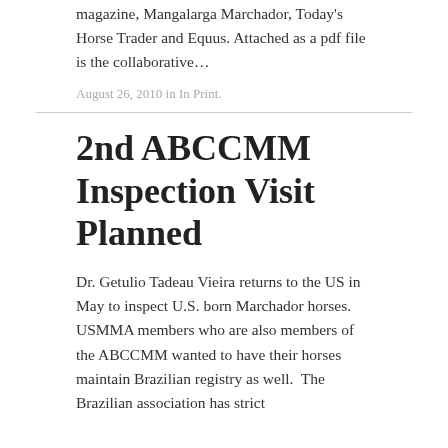magazine, Mangalarga Marchador, Today's Horse Trader and Equus. Attached as a pdf file is the collaborative…
August 26, 2010 in In Print.
2nd ABCCMM Inspection Visit Planned
Dr. Getulio Tadeau Vieira returns to the US in May to inspect U.S. born Marchador horses.  USMMA members who are also members of the ABCCMM wanted to have their horses maintain Brazilian registry as well.  The Brazilian association has strict